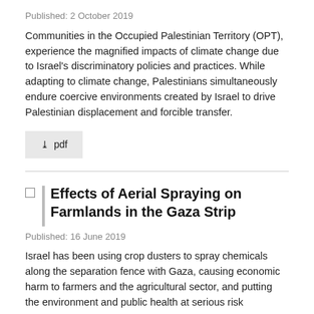Published: 2 October 2019
Communities in the Occupied Palestinian Territory (OPT), experience the magnified impacts of climate change due to Israel's discriminatory policies and practices. While adapting to climate change, Palestinians simultaneously endure coercive environments created by Israel to drive Palestinian displacement and forcible transfer.
[Figure (other): A download PDF button with a downward arrow icon and the text 'pdf']
Effects of Aerial Spraying on Farmlands in the Gaza Strip
Published: 16 June 2019
Israel has been using crop dusters to spray chemicals along the separation fence with Gaza, causing economic harm to farmers and the agricultural sector, and putting the environment and public health at serious risk